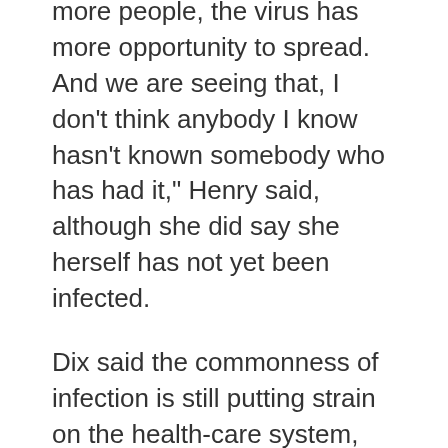more people, the virus has more opportunity to spread. And we are seeing that, I don't think anybody I know hasn't known somebody who has had it," Henry said, although she did say she herself has not yet been infected.
Dix said the commonness of infection is still putting strain on the health-care system, although not to the same extent as during the early peak of the Omicron wave. Patients are still being hospitalized, and sickness-related absences are still causing staffing issues.
"It is still having effects. Those effects are different but they continue to challenge our health-care system and health-care professionals and health-care workers everywhere."